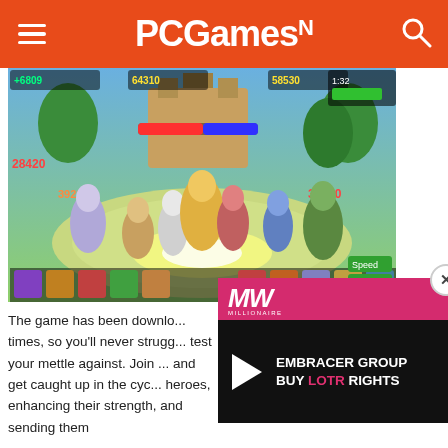PCGamesN
[Figure (screenshot): Video game screenshot showing fantasy heroes battling on an arena stage with HUD elements showing scores like +6809, 64310, 58530, 28420, 39210, 38630]
[Figure (screenshot): MW (Millionaire Makers) video ad overlay showing 'EMBRACER GROUP BUY LOTR RIGHTS' with play button, pink header bar, and close button]
The game has been downlo... times, so you'll never strugg... test your mettle against. Join ... and get caught up in the cyc... heroes, enhancing their strength, and sending them